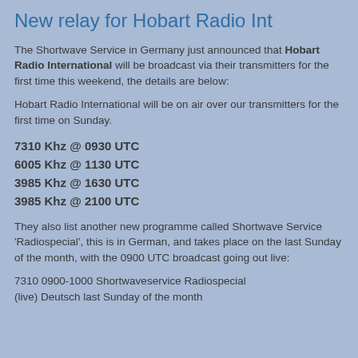New relay for Hobart Radio Int
The Shortwave Service in Germany just announced that Hobart Radio International will be broadcast via their transmitters for the first time this weekend, the details are below:
Hobart Radio International will be on air over our transmitters for the first time on Sunday.
7310 Khz @ 0930 UTC
6005 Khz @ 1130 UTC
3985 Khz @ 1630 UTC
3985 Khz @ 2100 UTC
They also list another new programme called Shortwave Service 'Radiospecial', this is in German, and takes place on the last Sunday of the month, with the 0900 UTC broadcast going out live:
7310 0900-1000 Shortwaveservice Radiospecial
(live) Deutsch last Sunday of the month